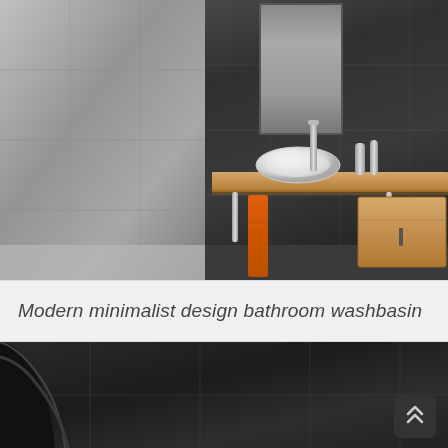[Figure (photo): Modern minimalist bathroom with wall-mounted wooden vanity countertop, white vessel sink bowl, chrome faucet, wooden storage cabinet below, orange hanging towel, and dark tile walls with a mirror above. Left side shows lighter grey textured wall.]
Modern minimalist design bathroom washbasin
[Figure (photo): Partial view of a dark bathroom with dark grey tile walls and what appears to be a dark freestanding bathtub or fixture visible on the left edge. A dark rounded scroll-to-top button with double chevron icon is shown in the bottom right corner.]